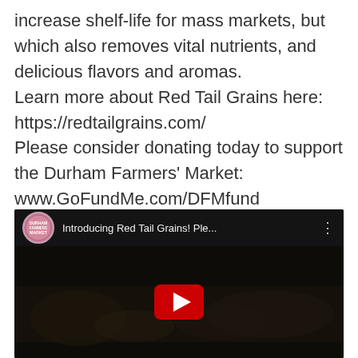increase shelf-life for mass markets, but which also removes vital nutrients, and delicious flavors and aromas. Learn more about Red Tail Grains here: https://redtailgrains.com/ Please consider donating today to support the Durham Farmers' Market: www.GoFundMe.com/DFMfund
[Figure (screenshot): YouTube video embed thumbnail showing corn on the cob in dark/moody lighting with a YouTube play button in the center. Video header shows Durham Farmers Market channel icon and title 'Introducing Red Tail Grains! Ple...' with a three-dot menu icon.]